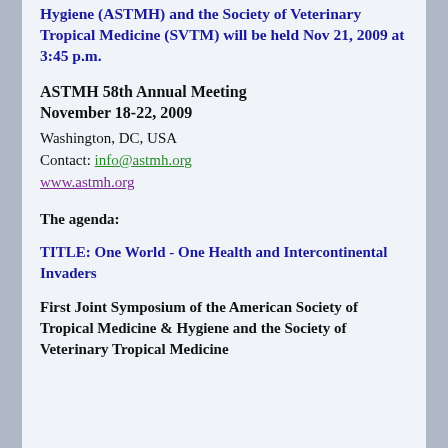Hygiene (ASTMH) and the Society of Veterinary Tropical Medicine (SVTM) will be held Nov 21, 2009 at 3:45 p.m.
ASTMH 58th Annual Meeting November 18-22, 2009
Washington, DC, USA
Contact: info@astmh.org
www.astmh.org
The agenda:
TITLE: One World - One Health and Intercontinental Invaders
First Joint Symposium of the American Society of Tropical Medicine & Hygiene and the Society of Veterinary Tropical Medicine